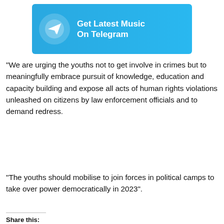[Figure (infographic): Telegram channel promotional banner with paper plane icon and text 'Get Latest Music On Telegram' on a light blue background]
“We are urging the youths not to get involve in crimes but to meaningfully embrace pursuit of knowledge, education and capacity building and expose all acts of human rights violations unleashed on citizens by law enforcement officials and to demand redress.
[Figure (other): Green FAST DOWNLOAD button with download arrow icon]
“The youths should mobilise to join forces in political camps to take over power democratically in 2023”.
Share this:
[Figure (other): Social share icons: Twitter (blue), Facebook (blue), Pinterest (red), WhatsApp (green), Telegram (blue), and More button]